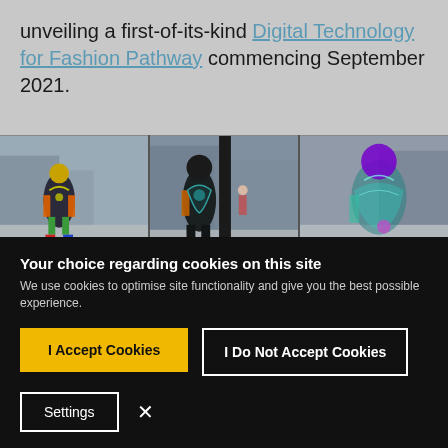unveiling a first-of-its-kind Digital Technology for Fashion Pathway commencing September 2021.
[Figure (photo): Three-panel photo strip showing AR/digital fashion figures superimposed on a snowy urban street scene. Left panel: figure with yellow head and colorful body suit. Center panel: dark figure near a street lamppost. Right panel: figure with purple head and teal/translucent body.]
Your choice regarding cookies on this site
We use cookies to optimise site functionality and give you the best possible experience.
I Accept Cookies
I Do Not Accept Cookies
Settings